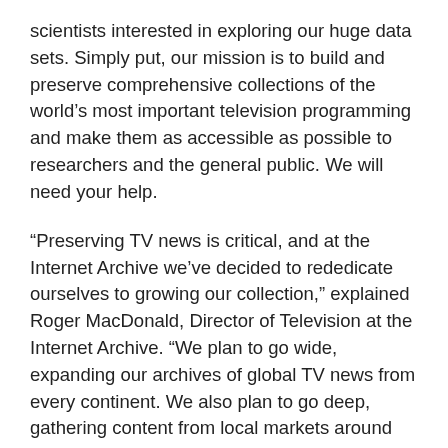scientists interested in exploring our huge data sets. Simply put, our mission is to build and preserve comprehensive collections of the world's most important television programming and make them as accessible as possible to researchers and the general public. We will need your help.
“Preserving TV news is critical, and at the Internet Archive we’ve decided to rededicate ourselves to growing our collection,” explained Roger MacDonald, Director of Television at the Internet Archive. “We plan to go wide, expanding our archives of global TV news from every continent. We also plan to go deep, gathering content from local markets around the country. And we plan to do so in a sustainable way that ensures that this TV will be available to generations to come.”
Libraries, museums and memory institutions have long played a critical role in preserving the cultural output of our creators. Television falls within that mandate. Indeed some of the most comprehensive US television collections are held by the Library